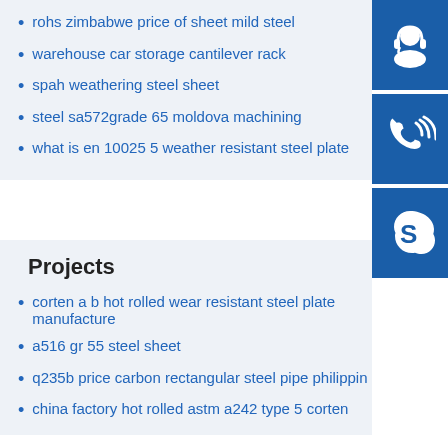rohs zimbabwe price of sheet mild steel
warehouse car storage cantilever rack
spah weathering steel sheet
steel sa572grade 65 moldova machining
what is en 10025 5 weather resistant steel plate
[Figure (illustration): Customer service headset icon - white icon on blue square background]
[Figure (illustration): Phone/call icon - white icon on blue square background]
[Figure (illustration): Skype icon - white S logo on blue square background]
Projects
corten a b hot rolled wear resistant steel plate manufacture
a516 gr 55 steel sheet
q235b price carbon rectangular steel pipe philippin
china factory hot rolled astm a242 type 5 corten